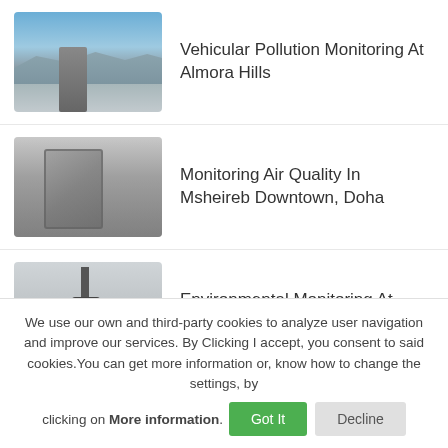[Figure (photo): Outdoor air quality monitoring device mounted on pole with mountainous city skyline in background under blue sky]
Vehicular Pollution Monitoring At Almora Hills
[Figure (photo): Grey air quality monitoring cabinet/box mounted near a building exterior with cloudy sky]
Monitoring Air Quality In Msheireb Downtown, Doha
[Figure (photo): Environmental monitoring sensor on a pole against a grey overcast sky]
Environmental Monitoring At Baku Smart City, Azerbaijan
We use our own and third-party cookies to analyze user navigation and improve our services. By Clicking I accept, you consent to said cookies.You can get more information or, know how to change the settings, by clicking on More information. Got It Decline